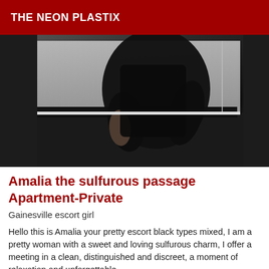THE NEON PLASTIX
[Figure (photo): A person wearing a black outfit photographed from behind/side in a dimly lit room with white surfaces]
Amalia the sulfurous passage Apartment-Private
Gainesville escort girl
Hello this is Amalia your pretty escort black types mixed, I am a pretty woman with a sweet and loving sulfurous charm, I offer a meeting in a clean, distinguished and discreet, a moment of relaxation and unforgettable...